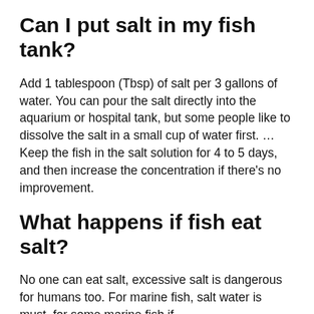Can I put salt in my fish tank?
Add 1 tablespoon (Tbsp) of salt per 3 gallons of water. You can pour the salt directly into the aquarium or hospital tank, but some people like to dissolve the salt in a small cup of water first. … Keep the fish in the salt solution for 4 to 5 days, and then increase the concentration if there’s no improvement.
What happens if fish eat salt?
No one can eat salt, excessive salt is dangerous for humans too. For marine fish, salt water is must, for some marine fish if